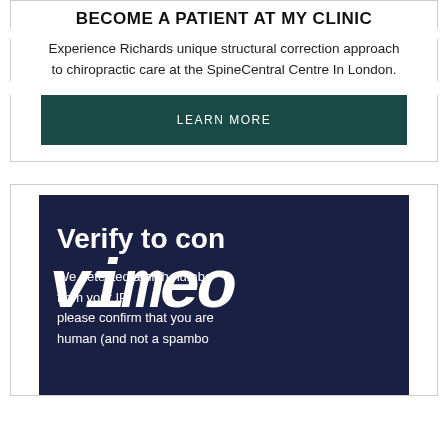BECOME A PATIENT AT MY CLINIC
Experience Richards unique structural correction approach to chiropractic care at the SpineCentral Centre In London.
LEARN MORE
[Figure (screenshot): Dark navy background box with white text showing a Cloudflare or similar human verification prompt: 'Verify to con[tinue]' and 'We detected a high numbe[r] fr[om your IP] please confirm that you are human (and not a spambo[t])'. The word 'vimeo' in large italic white text overlays the bottom portion.]